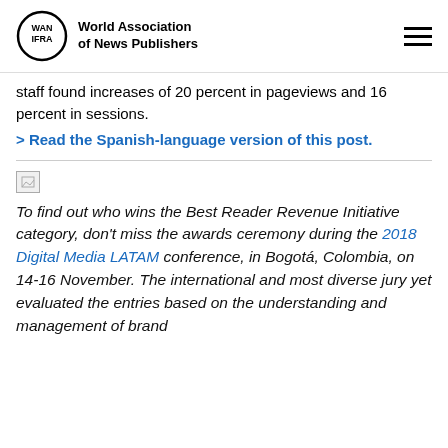World Association of News Publishers
staff found increases of 20 percent in pageviews and 16 percent in sessions.
> Read the Spanish-language version of this post.
[Figure (photo): Broken image placeholder]
To find out who wins the Best Reader Revenue Initiative category, don't miss the awards ceremony during the 2018 Digital Media LATAM conference, in Bogotá, Colombia, on 14-16 November. The international and most diverse jury yet evaluated the entries based on the understanding and management of brand